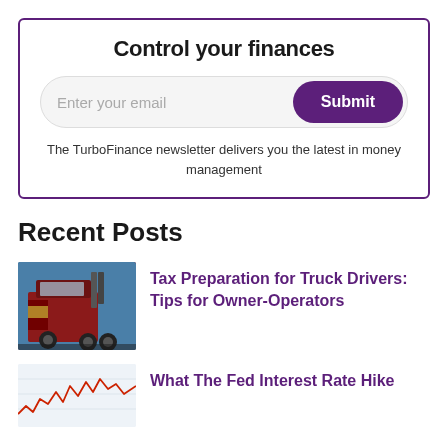Control your finances
Enter your email
Submit
The TurboFinance newsletter delivers you the latest in money management
Recent Posts
[Figure (photo): Red semi-truck / big rig photographed from a low angle against a blue sky]
Tax Preparation for Truck Drivers: Tips for Owner-Operators
[Figure (line-chart): Partial view of a line chart with red line showing fluctuating data on a light blue/white background]